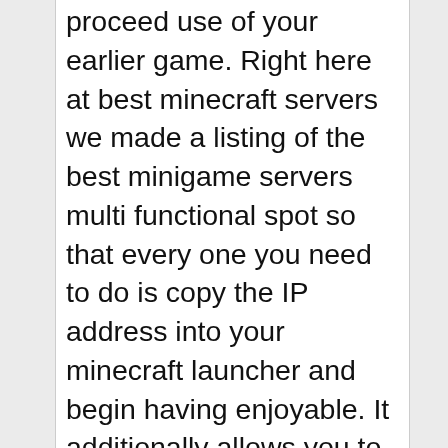proceed use of your earlier game. Right here at best minecraft servers we made a listing of the best minigame servers multi functional spot so that every one you need to do is copy the IP address into your minecraft launcher and begin having enjoyable. It additionally allows you to obtain mods in your Minecraft sport,
We use cookies on our website to give you the most relevant experience by remembering your preferences and repeat visits. By clicking “Accept”, you consent to the use of all cookies.
Accept
that you realize the fundamental difference between the 2 variations, choose the Minecraft model correctly. Its current model is 1.0. It has been up to date on 7/08/2013 Zero and it has been up to